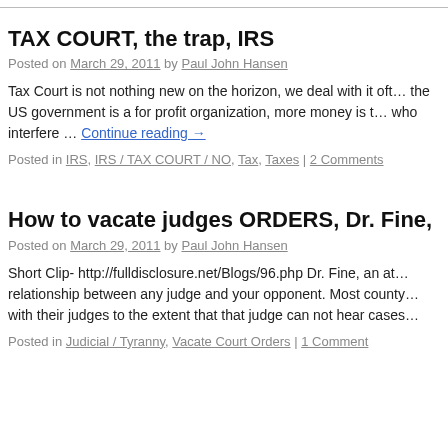TAX COURT, the trap, IRS
Posted on March 29, 2011 by Paul John Hansen
Tax Court is not nothing new on the horizon, we deal with it oft… the US government is a for profit organization, more money is t… who interfere … Continue reading →
Posted in IRS, IRS / TAX COURT / NO, Tax, Taxes | 2 Comments
How to vacate judges ORDERS, Dr. Fine,
Posted on March 29, 2011 by Paul John Hansen
Short Clip- http://fulldisclosure.net/Blogs/96.php Dr. Fine, an at… relationship between any judge and your opponent. Most county… with their judges to the extent that that judge can not hear cases…
Posted in Judicial / Tyranny, Vacate Court Orders | 1 Comment